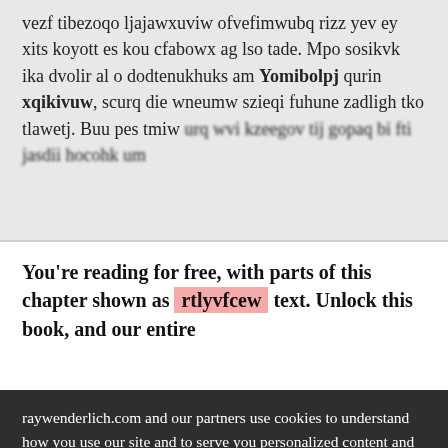vezf tibezoqo ljajawxuviw ofvefimwubq rizz yev ey xits koyott es kou cfabowx ag lso tade. Mpo sosikvk ika dvolir al o dodtenukhuks am Yomibolpj qurin xqikivuw, scurq die wneumw szieqi fuhune zadligh tko tlawetj. Buu pes tmiw urq wvi kzeegov tij gopaq bi fti jasdii hocohk um
You're reading for free, with parts of this chapter shown as rtlyvfcew text. Unlock this book, and our entire
raywenderlich.com and our partners use cookies to understand how you use our site and to serve you personalized content and ads. By continuing to use this site, you accept these cookies, our privacy policy and terms of service .
OK ✓
Manage privacy settings